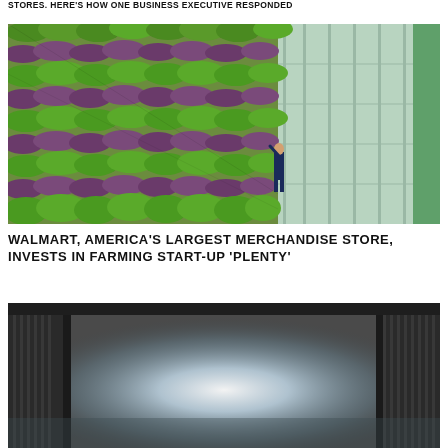STORES. HERE'S HOW ONE BUSINESS EXECUTIVE RESPONDED
[Figure (photo): Vertical indoor farm with rows of green and purple leafy plants growing on tall walls, with a person in a blue jumpsuit standing in the aisle looking up at the plants. The right side shows a greenhouse structure with metal framing.]
WALMART, AMERICA'S LARGEST MERCHANDISE STORE, INVESTS IN FARMING START-UP 'PLENTY'
[Figure (photo): Interior of an industrial or agricultural building with high ceilings and bright light streaming through the far end, showing metal structural elements and a large open space.]